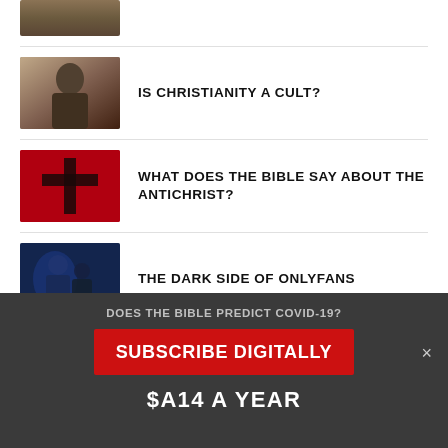[Figure (photo): Partial thumbnail image at top, dark warm tones]
[Figure (photo): Black and white photo thumbnail of a man with sunglasses]
IS CHRISTIANITY A CULT?
[Figure (photo): Red background with dark cross silhouette]
WHAT DOES THE BIBLE SAY ABOUT THE ANTICHRIST?
[Figure (photo): Dark blue toned photo of figures]
THE DARK SIDE OF ONLYFANS
DOES THE BIBLE PREDICT COVID-19?
SUBSCRIBE DIGITALLY
$A14 A YEAR